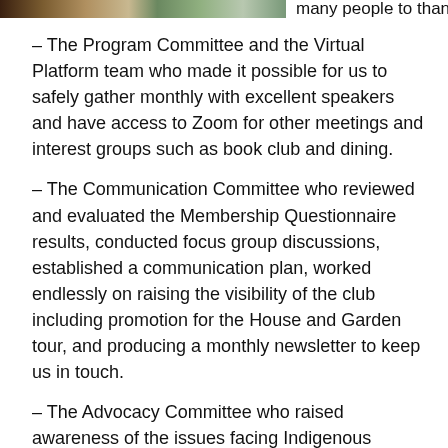[Figure (photo): Partial image strip at the top of the page, showing a cropped photo of people or an outdoor scene in muted earth tones.]
many people to thank.
– The Program Committee and the Virtual Platform team who made it possible for us to safely gather monthly with excellent speakers and have access to Zoom for other meetings and interest groups such as book club and dining.
– The Communication Committee who reviewed and evaluated the Membership Questionnaire results, conducted focus group discussions, established a communication plan, worked endlessly on raising the visibility of the club including promotion for the House and Garden tour, and producing a monthly newsletter to keep us in touch.
– The Advocacy Committee who raised awareness of the issues facing Indigenous Women with involvement in the 16 days of Activism against gender-based violence and highlighting the endless environmental issues where we can make an impact for the future.
– The Membership Committee who so creatively celebrated new members to the club and created a new online membership form that will deal with all the privacy concerns related to online communications.